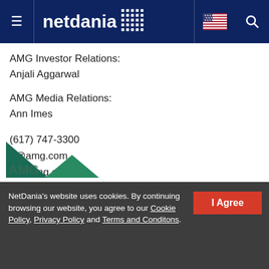netdania [logo with dots, US flag, hamburger menu, search icon]
AMG Investor Relations:
Anjali Aggarwal
AMG Media Relations:
Ann Imes
(617) 747-3300
ir@amg.com
pr@amg.com
[Figure (logo): AMG logo with green triangle/arrow shapes]
NetDania's website uses cookies. By continuing browsing our website, you agree to our Cookie Policy, Privacy Policy and Terms and Conditons.